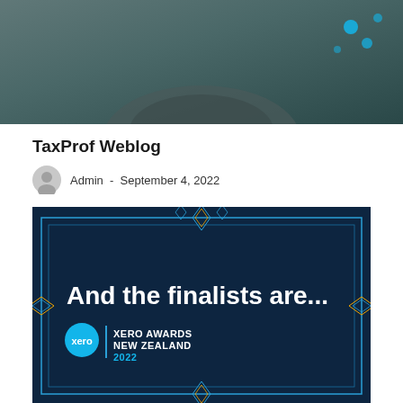[Figure (photo): Top portion of a person photo with dark teal/grey background tones]
TaxProf Weblog
Admin - September 4, 2022
[Figure (photo): Xero Awards New Zealand 2022 promotional banner on dark navy background with text 'And the finalists are...' and Xero logo]